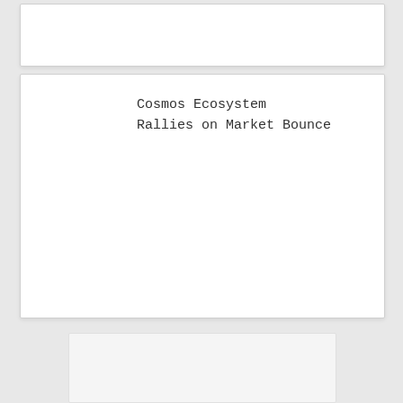[Figure (other): White card panel at top, content area (partially visible)]
Cosmos Ecosystem Rallies on Market Bounce
[Figure (other): White card panel at bottom, content area (mostly blank)]